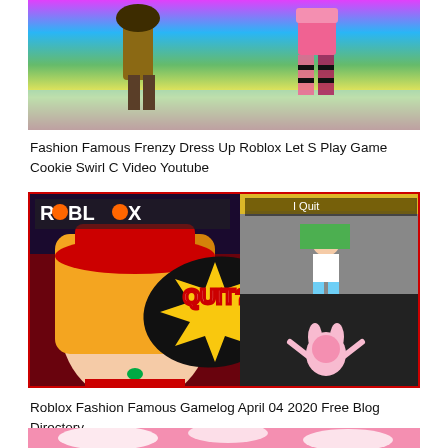[Figure (screenshot): Screenshot of Roblox Fashion Famous Frenzy game with colorful characters on a rainbow stage, partially cropped at top]
Fashion Famous Frenzy Dress Up Roblox Let S Play Game Cookie Swirl C Video Youtube
[Figure (screenshot): Thumbnail image for Roblox Fashion Famous Gamelog showing an anime-style character with red hat and blonde hair on left, and Roblox game scenes on right with QUIT? text overlay, plus I Quit text in upper right]
Roblox Fashion Famous Gamelog April 04 2020 Free Blog Directory
[Figure (screenshot): Partially visible pink background image with white flower/petals, cropped at bottom of page]